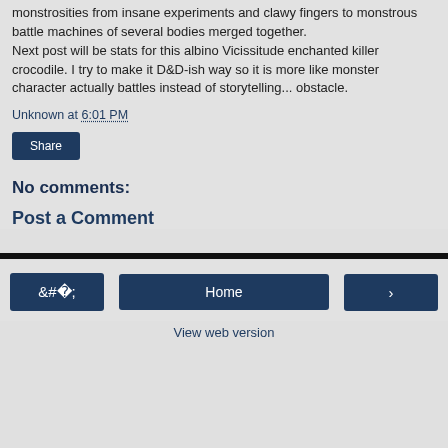monstrosities from insane experiments and clawy fingers to monstrous battle machines of several bodies merged together.
Next post will be stats for this albino Vicissitude enchanted killer crocodile. I try to make it D&D-ish way so it is more like monster character actually battles instead of storytelling... obstacle.
Unknown at 6:01 PM
Share
No comments:
Post a Comment
Home  View web version